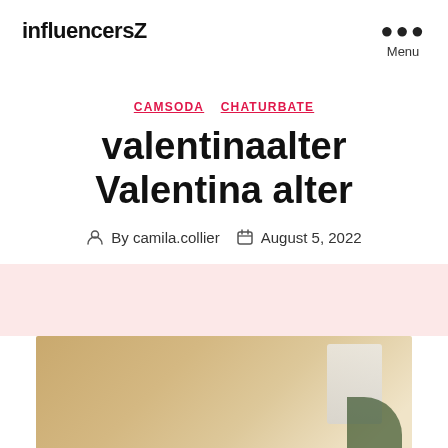influencersZ
CAMSODA  CHATURBATE
valentinaalter Valentina alter
By camila.collier  August 5, 2022
[Figure (photo): A photo with warm golden/beige tones, partially visible interior scene with white object and dark leaf/plant element in lower right corner, displayed in a pink-banded section.]